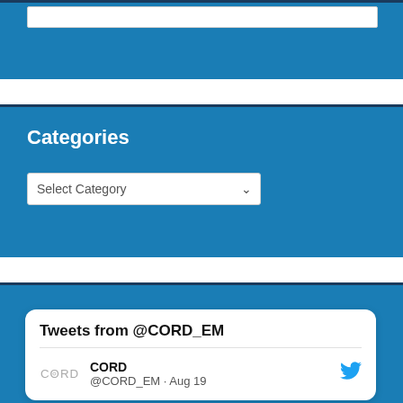[Figure (screenshot): Top blue sidebar strip with a white search/input bar at the top]
Categories
[Figure (screenshot): Select Category dropdown input element]
Tweets from @CORD_EM
CORD @CORD_EM · Aug 19